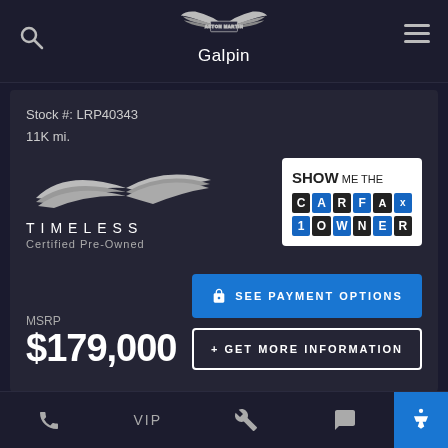[Figure (logo): Aston Martin winged logo above text 'Galpin']
Stock #: LRP40343
11K mi.
[Figure (logo): Aston Martin Timeless Certified Pre-Owned logo with wing graphic]
[Figure (logo): SHOW ME THE CARFAx 1OWNER carfax badge]
MSRP
$179,000
SEE PAYMENT OPTIONS
+ GET MORE INFORMATION
VIP